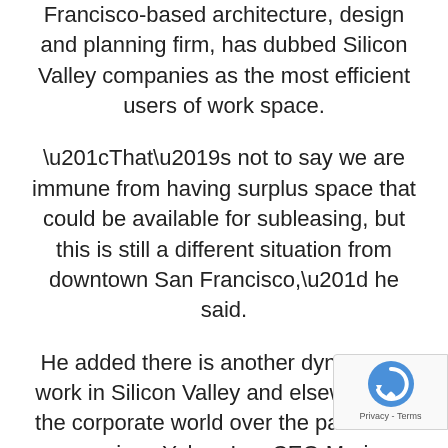Francisco-based architecture, design and planning firm, has dubbed Silicon Valley companies as the most efficient users of work space.
“That’s not to say we are immune from having surplus space that could be available for subleasing, but this is still a different situation from downtown San Francisco,” he said.
He added there is another dynamic at work in Silicon Valley and elsewhere in the corporate world over the past three years since Yahoo Inc. CEO Marissa Mayer famously ended her company’s popular work-from-home policy for employees.
“Employers have discovered innovation is b…
[Figure (other): reCAPTCHA badge with rotating arrow icon and Privacy - Terms text]